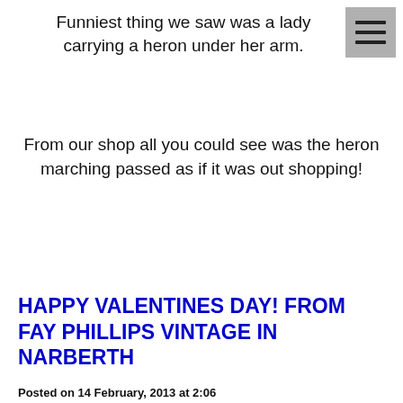Funniest thing we saw was a lady carrying a heron under her arm.
From our shop all you could see was the heron marching passed as if it was out shopping!
HAPPY VALENTINES DAY! FROM FAY PHILLIPS VINTAGE IN NARBERTH
Posted on 14 February, 2013 at 2:06